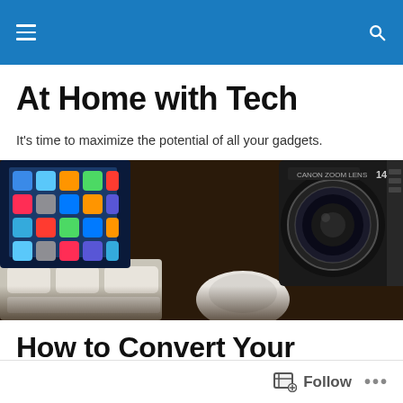Navigation bar with hamburger menu and search icon
At Home with Tech
It's time to maximize the potential of all your gadgets.
[Figure (photo): Close-up photo of tech gadgets including a smartphone showing app icons, a Canon zoom lens camera, a computer mouse, and keyboard keys]
How to Convert Your Camera into a Time Machine
Follow  •••